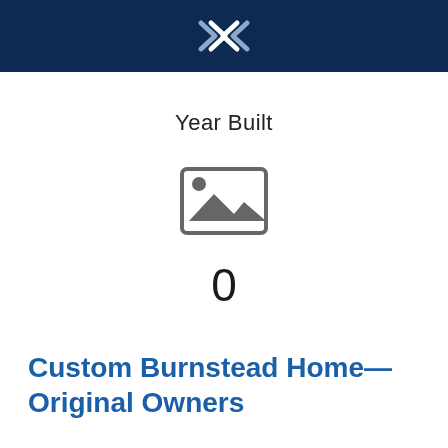Year Built
[Figure (illustration): Gray image placeholder icon showing a landscape/mountain scene inside a rectangle with a rounded corner circle (sun) in the upper left]
0
Custom Burnstead Home—Original Owners